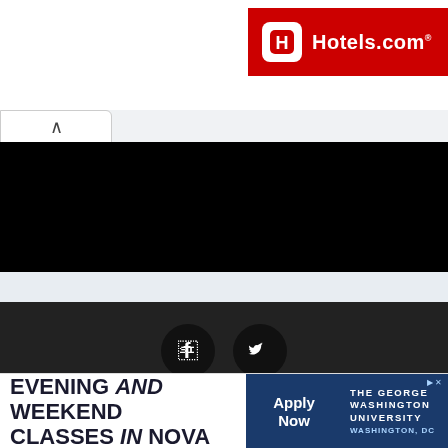[Figure (logo): Hotels.com logo with red background, white H icon and white text 'Hotels.com']
[Figure (screenshot): Black content bar representing redacted/dark webpage content]
[Figure (infographic): Dark footer with Facebook and Twitter circular social media icons]
Copyright © Top Best Alternatives
About  Contact  Privacy Policy
[Figure (screenshot): Advertisement banner: EVENING and WEEKEND CLASSES in NOVA with Apply Now button and The George Washington University logo]